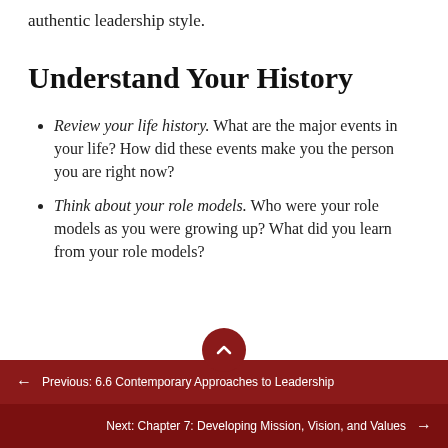authentic leadership style.
Understand Your History
Review your life history. What are the major events in your life? How did these events make you the person you are right now?
Think about your role models. Who were your role models as you were growing up? What did you learn from your role models?
Previous: 6.6 Contemporary Approaches to Leadership
Next: Chapter 7: Developing Mission, Vision, and Values